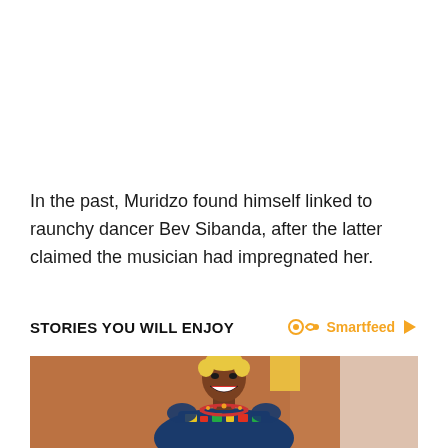In the past, Muridzo found himself linked to raunchy dancer Bev Sibanda, after the latter claimed the musician had impregnated her.
STORIES YOU WILL ENJOY
[Figure (photo): Photo of a smiling woman with short blonde hair wearing a colorful African print top with a beaded necklace, standing in front of a warm-toned background.]